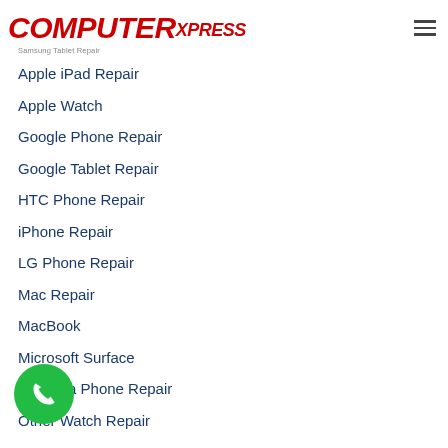COMPUTER XPRESS
Apple iPad Repair
Apple Watch
Google Phone Repair
Google Tablet Repair
HTC Phone Repair
iPhone Repair
LG Phone Repair
Mac Repair
MacBook
Microsoft Surface
Motorola Phone Repair
Other Watch Repair